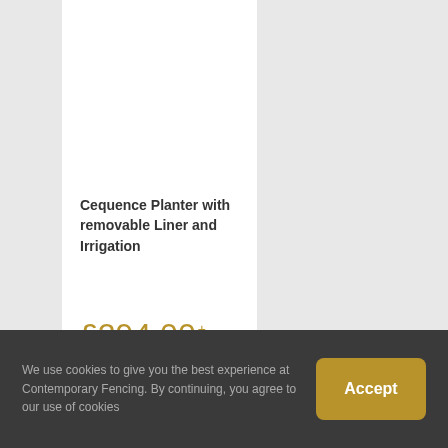Cequence Planter with removable Liner and Irrigation
£294.00 + vat — £604.00 + vat
We use cookies to give you the best experience at Contemporary Fencing. By continuing, you agree to our use of cookies
Accept